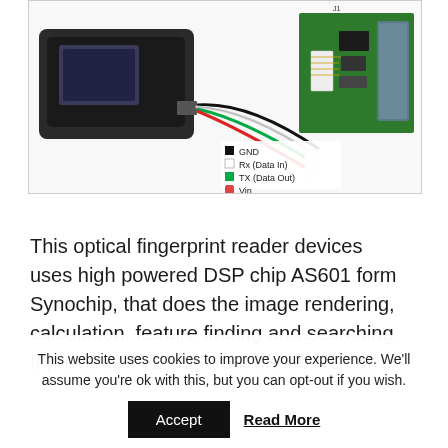[Figure (photo): Photo of an optical fingerprint reader module (black plastic housing with wired connector showing black, white, green, red wires) on the left, and a circuit board (green PCB with connector labeled J1) on the right. A legend shows: GND (black), Rx Data In (white), TX Data Out (green), Vin (red).]
This optical fingerprint reader devices uses high powered DSP chip AS601 form Synochip, that does the image rendering, calculation, feature finding and searching. It provides TTL serial out hence we can
This website uses cookies to improve your experience. We'll assume you're ok with this, but you can opt-out if you wish.